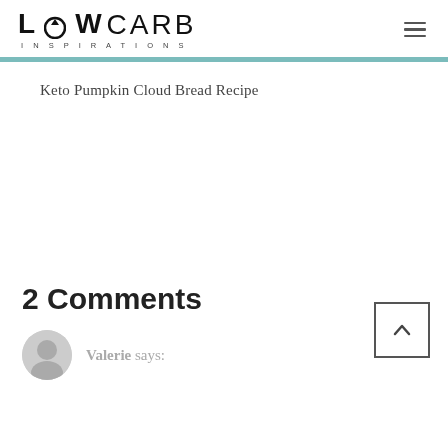LOW CARB INSPIRATIONS
Keto Pumpkin Cloud Bread Recipe
2 Comments
Valerie says: